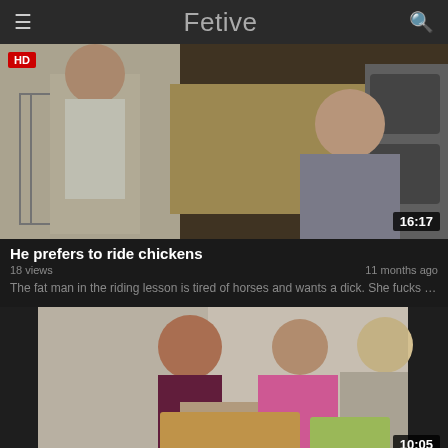Fetive
[Figure (screenshot): Video thumbnail showing people near hay bales on a farm, with HD badge and 16:17 duration]
He prefers to ride chickens
18 views · 11 months ago
The fat man in the riding lesson is tired of horses and wants a dick. She fucks …
[Figure (screenshot): Video thumbnail showing people sitting together looking at books, with 10:05 duration]